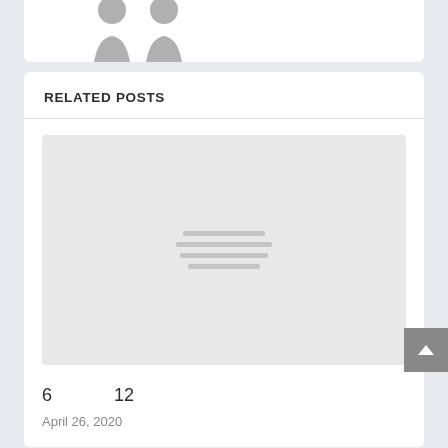[Figure (illustration): Partial view of person silhouette/avatar at top of page in a white card]
RELATED POSTS
[Figure (illustration): Placeholder image with light gray background and four horizontal gray lines centered, representing an image placeholder]
6     12
April 26, 2020